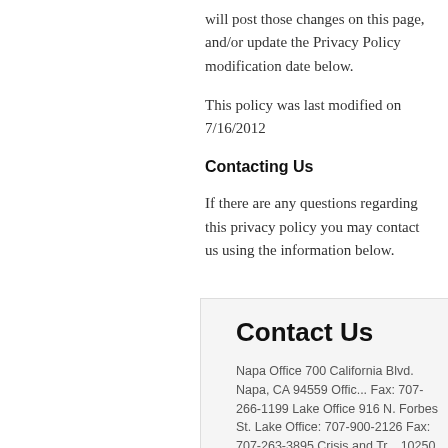will post those changes on this page, and/or update the Privacy Policy modification date below.
This policy was last modified on 7/16/2012
Contacting Us
If there are any questions regarding this privacy policy you may contact us using the information below.
Contact Us
Napa Office 700 California Blvd. Napa, CA 94559 Office Fax: 707-266-1199 Lake Office 916 N. Forbes St. Lake Office: 707-900-2126 Fax: 707-263-3895 Crisis and Tra 10250 Dewell Rd. Ext. Upper Lake, CA 95485 Office: 7 Fax: 707-275-2600
Tailored Living Choices